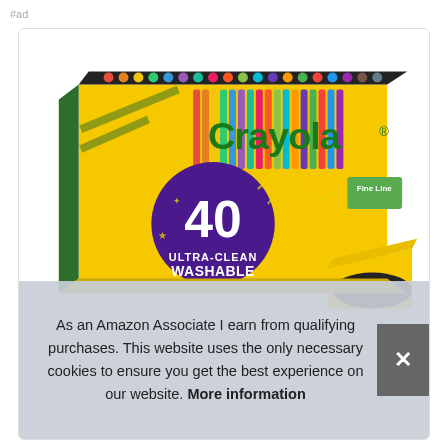#ad
[Figure (photo): Crayola 40 Ultra-Clean Washable Markers box product photo, yellow box with colorful markers visible at the top, large purple circle with '40' and text 'ULTRA-CLEAN WASHABLE MARKERS', Fine Line label visible, open yellow box in lower right corner]
As an Amazon Associate I earn from qualifying purchases. This website uses the only necessary cookies to ensure you get the best experience on our website. More information